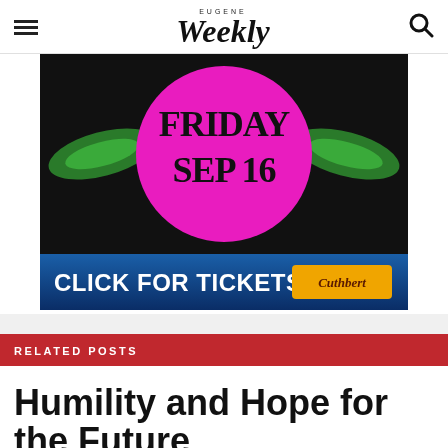EUGENE Weekly
[Figure (illustration): Advertisement banner for an event on Friday Sep 16 with a pink circle on a black background with green wings, and a blue 'CLICK FOR TICKETS' bar with a Cuthbert ticket badge.]
RELATED POSTS
Humility and Hope for the Future
Lessons learned from the 2020 Labor Day firestorms